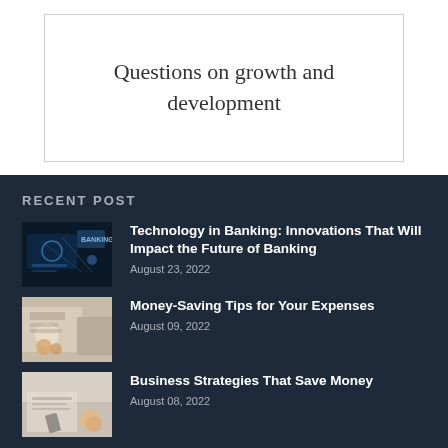Questions on growth and development
RECENT POST
Technology in Banking: Innovations That Will Impact the Future of Banking
August 23, 2022
Money-Saving Tips for Your Expenses
August 09, 2022
Business Strategies That Save Money
August 08, 2022